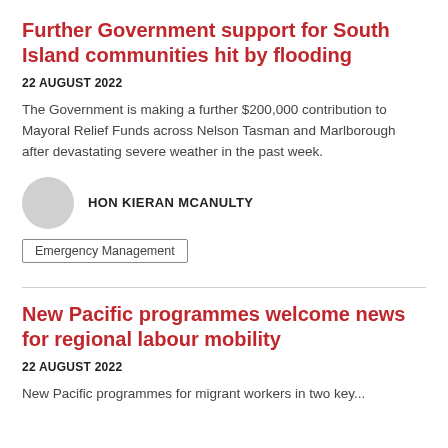Further Government support for South Island communities hit by flooding
22 AUGUST 2022
The Government is making a further $200,000 contribution to Mayoral Relief Funds across Nelson Tasman and Marlborough after devastating severe weather in the past week.
[Figure (photo): Circular avatar placeholder for Hon Kieran McAnulty]
HON KIERAN MCANULTY
Emergency Management
New Pacific programmes welcome news for regional labour mobility
22 AUGUST 2022
New Pacific programmes for migrant workers in two key...